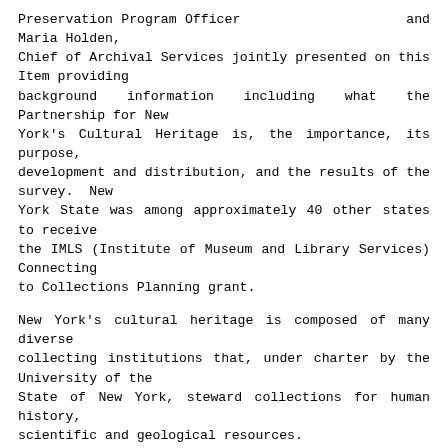Preservation Program Officer                    and Maria Holden, Chief of Archival Services jointly presented on this Item providing background information including what the Partnership for New York's Cultural Heritage is, the importance, its purpose, development and distribution, and the results of the survey. New York State was among approximately 40 other states to receive the IMLS (Institute of Museum and Library Services) Connecting to Collections Planning grant.
New York's cultural heritage is composed of many diverse collecting institutions that, under charter by the University of the State of New York, steward collections for human history, scientific and geological resources.
The presenters emphasized the Office of Cultural Education's (OCE) commitment to preservation; talked about various services and funding that OCE provides to NYS's cultural institutions, and OCE's partnerships with organizations that serve the cultural heritage community.
Regarding a preservation plan, we now have tangible essential information for action, fundraising, legislation, and information that helps determine needs for preservation education; disaster preparedness and other challenges we may face.  The survey